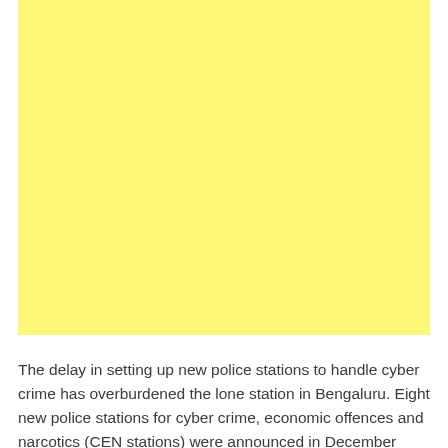[Figure (other): Yellow rectangular block, likely a placeholder or image area with solid yellow fill.]
The delay in setting up new police stations to handle cyber crime has overburdened the lone station in Bengaluru. Eight new police stations for cyber crime, economic offences and narcotics (CEN stations) were announced in December 2018 to handle the growing